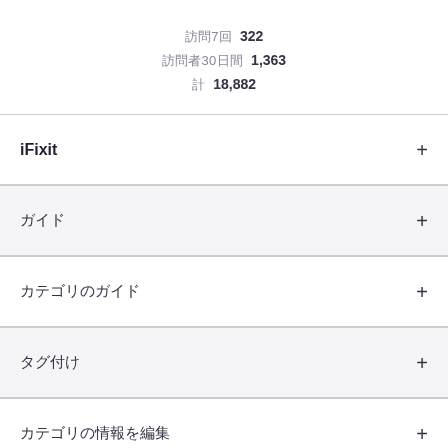訪問7回  322
訪問者30日間  1,363
計  18,882
iFixit
ガイド
カテゴリのガイド
タグ付け
カテゴリの情報を編集